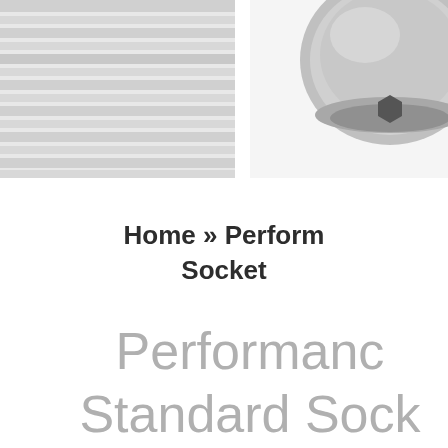[Figure (photo): Product photo of a metallic socket tool, partially visible in the top right corner. A striped gray pattern is visible in the top left corner.]
Home » Perform Socket
Performance Standard Socket 6pt. 9m